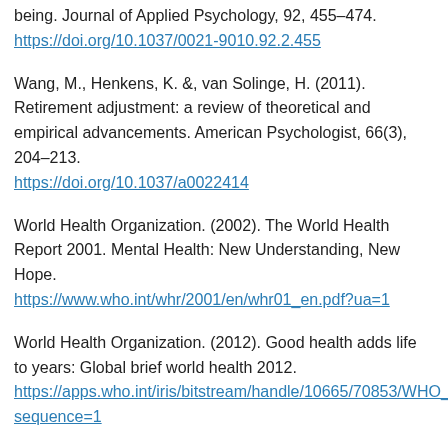being. Journal of Applied Psychology, 92, 455–474. https://doi.org/10.1037/0021-9010.92.2.455
Wang, M., Henkens, K. &, van Solinge, H. (2011). Retirement adjustment: a review of theoretical and empirical advancements. American Psychologist, 66(3), 204–213. https://doi.org/10.1037/a0022414
World Health Organization. (2002). The World Health Report 2001. Mental Health: New Understanding, New Hope. https://www.who.int/whr/2001/en/whr01_en.pdf?ua=1
World Health Organization. (2012). Good health adds life to years: Global brief world health 2012. https://apps.who.int/iris/bitstream/handle/10665/70853/WHO_sequence=1
World Health Organization (WHO). (2015). World report on ageing and health.